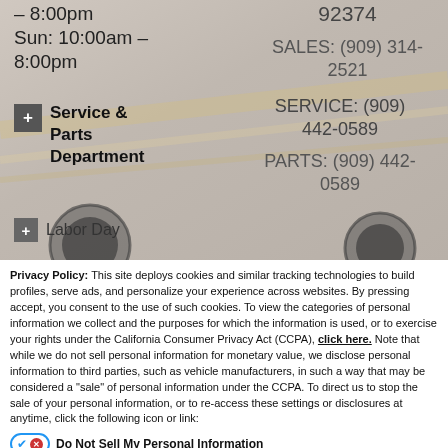– 8:00pm
Sun: 10:00am – 8:00pm
92374
SALES: (909) 314-2521
+ Service & Parts Department
SERVICE: (909) 442-0589
PARTS: (909) 442-0589
+ Labor Day
Privacy Policy: This site deploys cookies and similar tracking technologies to build profiles, serve ads, and personalize your experience across websites. By pressing accept, you consent to the use of such cookies. To view the categories of personal information we collect and the purposes for which the information is used, or to exercise your rights under the California Consumer Privacy Act (CCPA), click here. Note that while we do not sell personal information for monetary value, we disclose personal information to third parties, such as vehicle manufacturers, in such a way that may be considered a "sale" of personal information under the CCPA. To direct us to stop the sale of your personal information, or to re-access these settings or disclosures at anytime, click the following icon or link:
Do Not Sell My Personal Information
Language: English
Powered by ComplyAuto
Accept and Continue →
California Privacy Disclosures
×